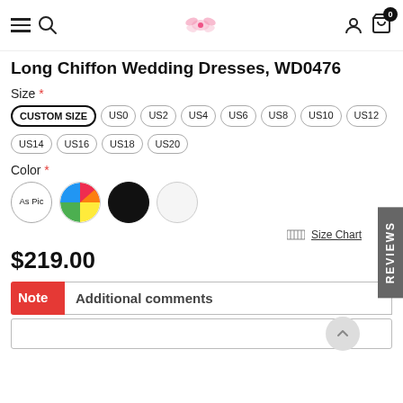Navigation bar with menu, search, logo, user, and cart icons
Long Chiffon Wedding Dresses, WD0476
Size *
CUSTOM SIZE
US0
US2
US4
US6
US8
US10
US12
US14
US16
US18
US20
Color *
Size Chart
$219.00
Note  Additional comments